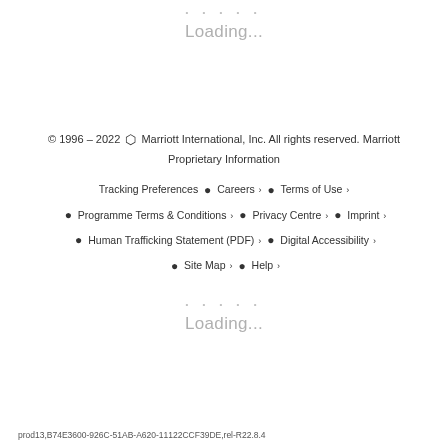Loading...
© 1996 – 2022 Marriott International, Inc. All rights reserved. Marriott Proprietary Information
Tracking Preferences
Careers
Terms of Use
Programme Terms & Conditions
Privacy Centre
Imprint
Human Trafficking Statement (PDF)
Digital Accessibility
Site Map
Help
Loading...
prod13,B74E3600-926C-51AB-A620-11122CCF39DE,rel-R22.8.4